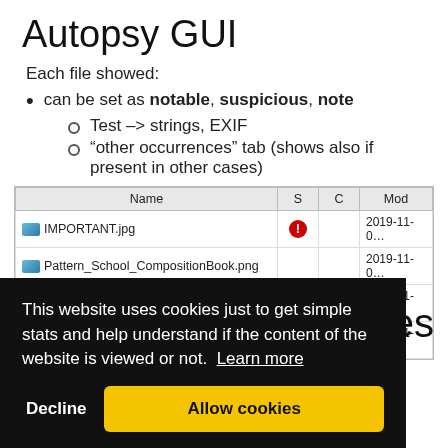Autopsy GUI
Each file showed:
can be set as notable, suspicious, note
Test -> strings, EXIF
“other occurrences” tab (shows also if present in other cases)
| Name | S | C | Mod |
| --- | --- | --- | --- |
| IMPORTANT.jpg | ● |  | 2019-11-0… |
| Pattern_School_CompositionBook.png |  |  | 2019-11-0… |
| Pattern_School_LinedPage.png |  |  | 2019-11-0… |
| IMG_20191023_170347.jpg |  |  | 2019-11-0… |
This website uses cookies just to get simple stats and help understand if the content of the website is viewed or not.  Learn more
ules
dules can
rmation,
some of the pre packaged are: